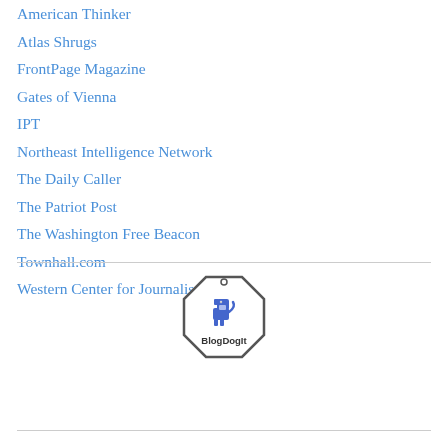American Thinker
Atlas Shrugs
FrontPage Magazine
Gates of Vienna
IPT
Northeast Intelligence Network
The Daily Caller
The Patriot Post
The Washington Free Beacon
Townhall.com
Western Center for Journalism
[Figure (logo): BlogDogIt badge logo — octagonal badge shape with a cartoon dog graphic and text 'BlogDogIt']